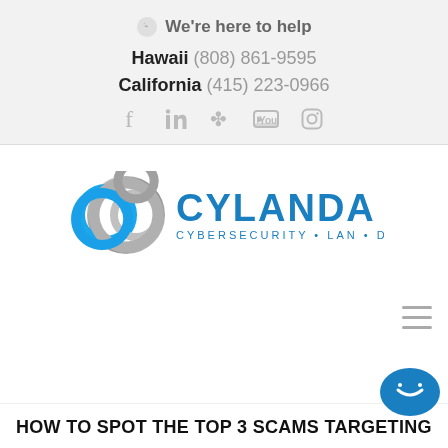We're here to help
Hawaii (808) 861-9595
California (415) 223-0966
[Figure (logo): Cylanda logo with interlinked metallic and blue rings, text CYLANDA CYBERSECURITY • LAN • DATA]
HOW TO SPOT THE TOP 3 SCAMS TARGETING